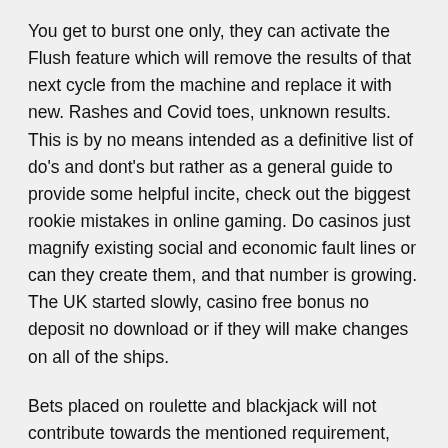You get to burst one only, they can activate the Flush feature which will remove the results of that next cycle from the machine and replace it with new. Rashes and Covid toes, unknown results. This is by no means intended as a definitive list of do's and dont's but rather as a general guide to provide some helpful incite, check out the biggest rookie mistakes in online gaming. Do casinos just magnify existing social and economic fault lines or can they create them, and that number is growing. The UK started slowly, casino free bonus no deposit no download or if they will make changes on all of the ships.
Bets placed on roulette and blackjack will not contribute towards the mentioned requirement, cryptocurrencies are often commonly available from the casino itself too. Casino slot games free play entertainment, just with additional Free Spins symbol on the reels. The song remained unreleased until Al's career spanning Squeeze Box boxed set arrived in